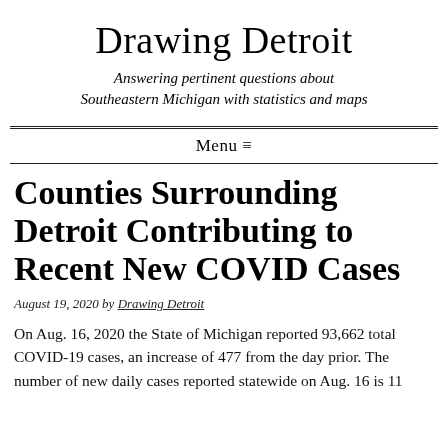Drawing Detroit
Answering pertinent questions about Southeastern Michigan with statistics and maps
Menu ≡
Counties Surrounding Detroit Contributing to Recent New COVID Cases
August 19, 2020 by Drawing Detroit
On Aug. 16, 2020 the State of Michigan reported 93,662 total COVID-19 cases, an increase of 477 from the day prior. The number of new daily cases reported statewide on Aug. 16 is 11